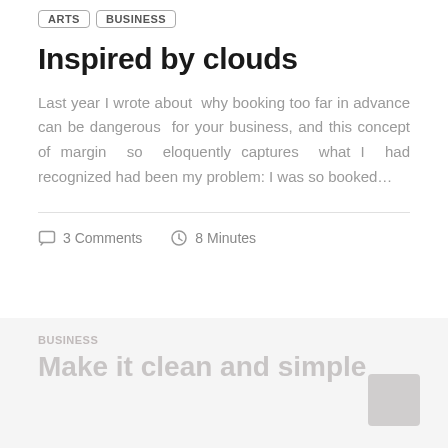ARTS  BUSINESS
Inspired by clouds
Last year I wrote about why booking too far in advance can be dangerous for your business, and this concept of margin so eloquently captures what I had recognized had been my problem: I was so booked...
3 Comments  8 Minutes
BUSINESS
Make it clean and simple